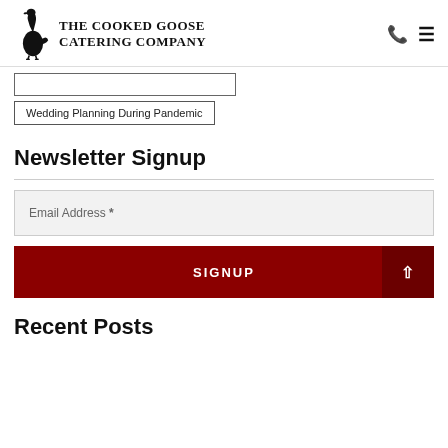The Cooked Goose Catering Company
Wedding Planning During Pandemic
Newsletter Signup
Email Address *
SIGNUP
Recent Posts